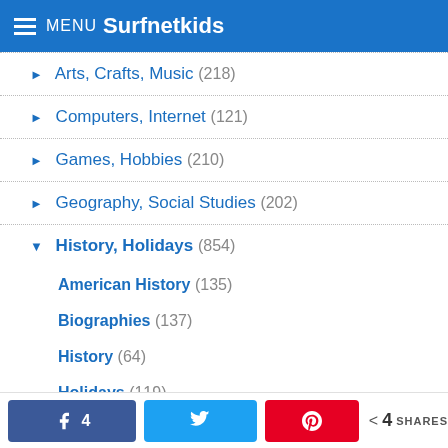MENU Surfnetkids
Arts, Crafts, Music (218)
Computers, Internet (121)
Games, Hobbies (210)
Geography, Social Studies (202)
History, Holidays (854)
American History (135)
Biographies (137)
History (64)
Holidays (119)
Language Arts, Reference (405)
Math (101)
Preschool, Kindergarten (34)
4 shares on Facebook, Twitter, Pinterest. 4 SHARES total.